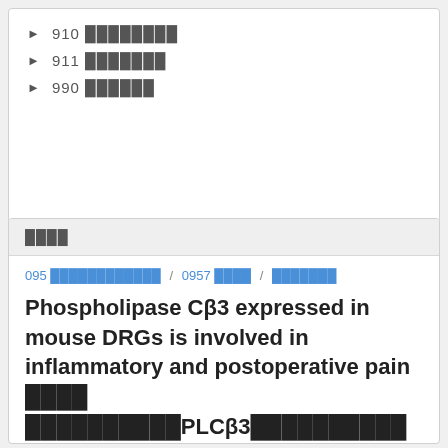910 ████████
911 ███████
990 ██████
████
095 ████████████ / 0957 ████ / ███████
Phospholipase Cβ3 expressed in mouse DRGs is involved in inflammatory and postoperative pain　████ ██████████PLCβ3██████████ ██████